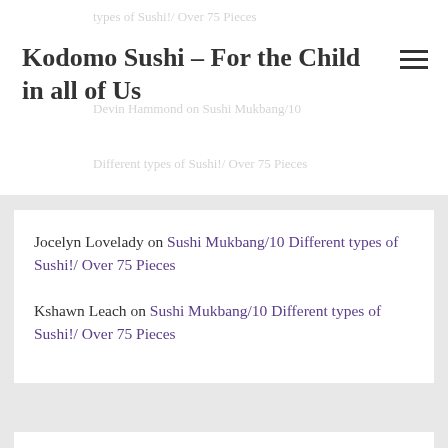Kodomo Sushi – For the Child in all of Us
Jocelyn Lovelady on Sushi Mukbang/10 Different types of Sushi!/ Over 75 Pieces
Kshawn Leach on Sushi Mukbang/10 Different types of Sushi!/ Over 75 Pieces
Archives